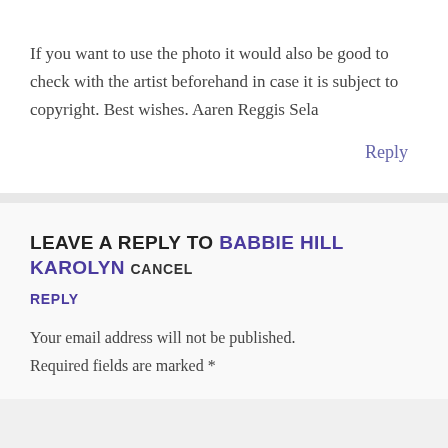If you want to use the photo it would also be good to check with the artist beforehand in case it is subject to copyright. Best wishes. Aaren Reggis Sela
Reply
LEAVE A REPLY TO BABBIE HILL KAROLYN CANCEL REPLY
Your email address will not be published.
Required fields are marked *